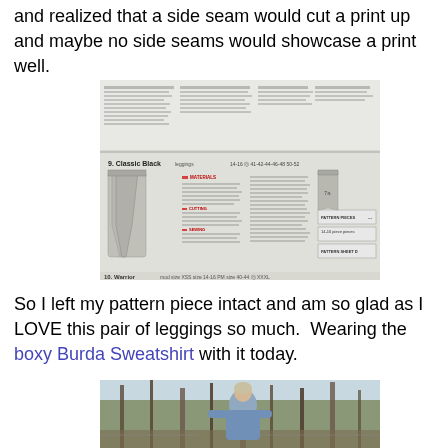and realized that a side seam would cut a print up and maybe no side seams would showcase a print well.
[Figure (photo): Scan of a sewing pattern instruction page showing legging pattern labeled '9. Classic Black' with front and back views of pants and pattern pieces.]
So I left my pattern piece intact and am so glad as I LOVE this pair of leggings so much.  Wearing the boxy Burda Sweatshirt with it today.
[Figure (photo): Outdoor photo of a woman with gray/blonde hair wearing a blue boxy sweatshirt and dark leggings, standing among bare trees.]